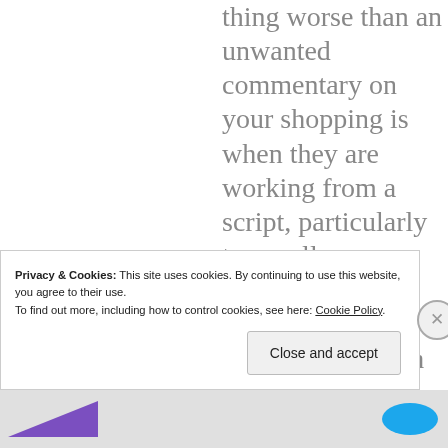thing worse than an unwanted commentary on your shopping is when they are working from a script, particularly to upsell a particular item. I bought a small quantity of ribbon
Privacy & Cookies: This site uses cookies. By continuing to use this website, you agree to their use.
To find out more, including how to control cookies, see here: Cookie Policy.